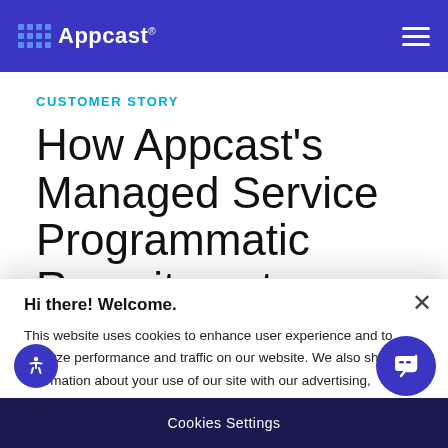Appcast — navigation header with logo and hamburger menu
Customer Story
How Appcast's Managed Service Programmatic Recruitment...
Hi there! Welcome.
This website uses cookies to enhance user experience and to analyze performance and traffic on our website. We also share information about your use of our site with our advertising, marketing, and analytics partners.
Cookies Settings